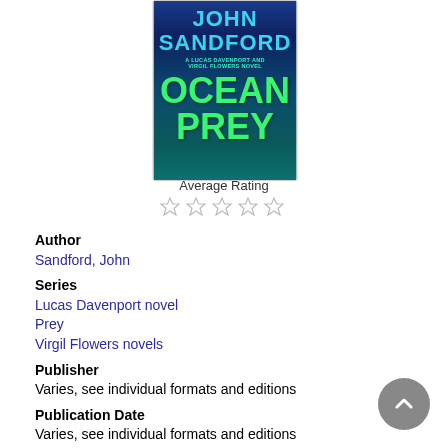[Figure (illustration): Book cover of 'Ocean Prey' by John Sandford — dark blue/teal underwater background with green glowing text. Author name at top, subtitle 'A Lucas Davenport and Virgil Flowers Novel', large title 'OCEAN PREY'.]
Average Rating
[Figure (other): Five empty star rating icons]
Author
Sandford, John
Series
Lucas Davenport novel
Prey
Virgil Flowers novels
Publisher
Varies, see individual formats and editions
Publication Date
Varies, see individual formats and editions
Language